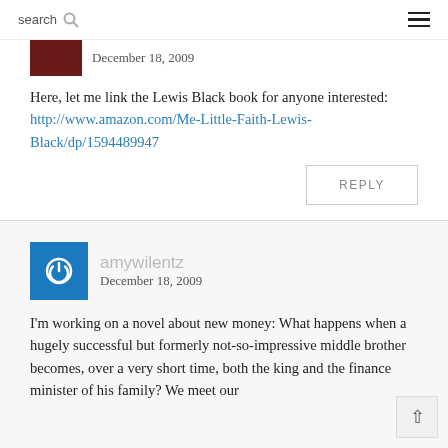search ☰
December 18, 2009
Here, let me link the Lewis Black book for anyone interested: http://www.amazon.com/Me-Little-Faith-Lewis-Black/dp/1594489947
REPLY
amywilentz
December 18, 2009
I'm working on a novel about new money: What happens when a hugely successful but formerly not-so-impressive middle brother becomes, over a very short time, both the king and the finance minister of his family? We meet our